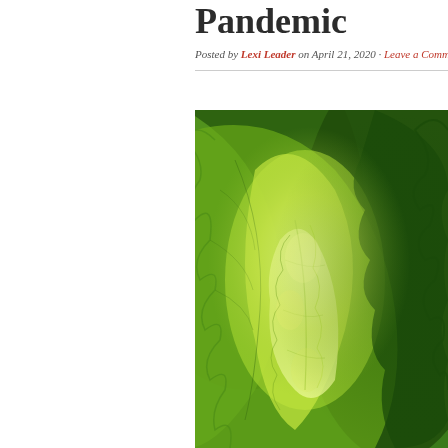Pandemic
Posted by Lexi Leader on April 21, 2020 · Leave a Comment
[Figure (photo): Close-up photograph of fresh green lettuce leaves with ruffled edges, showing varying shades of bright green and yellow-green. The leaves fill the entire frame.]